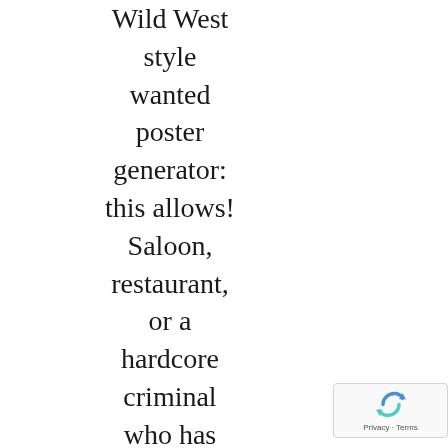Wild West style wanted poster generator: this allows! Saloon, restaurant, or a hardcore criminal who has been committing high-level crimes on a regular basis on.. Mortar gallery where you are free to ask about any grade level Tool Tl Dead or...
[Figure (other): reCAPTCHA badge with spinning arrow logo and 'Privacy - Terms' text]